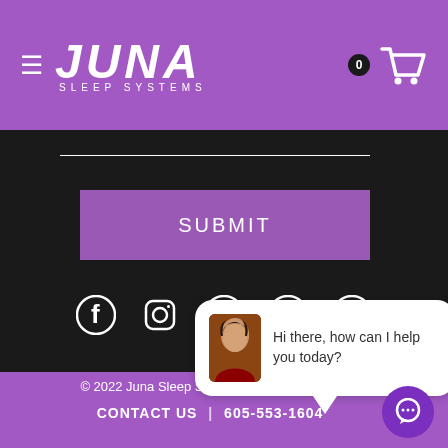[Figure (logo): Juna Sleep Systems logo with hamburger menu icon on purple header background, and shopping cart with badge '0' on right]
[Figure (other): White horizontal input field line on dark background]
[Figure (other): Purple SUBMIT button on dark background]
[Figure (other): Social media icons: Facebook, Instagram, Pinterest, Twitter, YouTube on dark background]
[Figure (other): Chat bubble with avatar photo saying 'Hi there, how can I help you today?']
© 2022 Juna Sleep Systems | Privacy | Terms CONTACT US | 605-553-1604